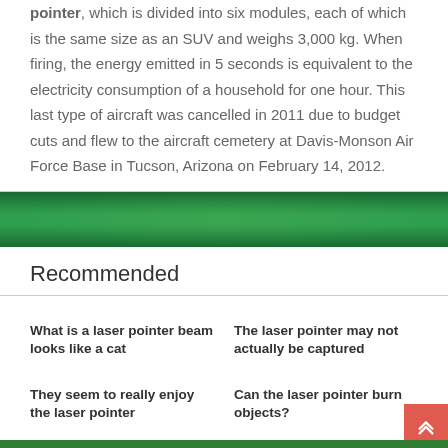pointer, which is divided into six modules, each of which is the same size as an SUV and weighs 3,000 kg. When firing, the energy emitted in 5 seconds is equivalent to the electricity consumption of a household for one hour. This last type of aircraft was cancelled in 2011 due to budget cuts and flew to the aircraft cemetery at Davis-Monson Air Force Base in Tucson, Arizona on February 14, 2012.
[Figure (other): Green gradient banner/divider bar]
Recommended
What is a laser pointer beam looks like a cat
The laser pointer may not actually be captured
They seem to really enjoy the laser pointer
Can the laser pointer burn objects?